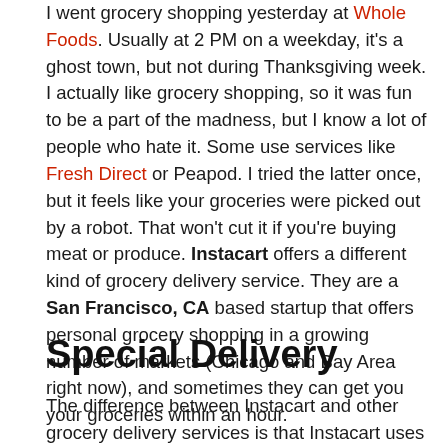I went grocery shopping yesterday at Whole Foods. Usually at 2 PM on a weekday, it's a ghost town, but not during Thanksgiving week. I actually like grocery shopping, so it was fun to be a part of the madness, but I know a lot of people who hate it. Some use services like Fresh Direct or Peapod. I tried the latter once, but it feels like your groceries were picked out by a robot. That won't cut it if you're buying meat or produce. Instacart offers a different kind of grocery delivery service. They are a San Francisco, CA based startup that offers personal grocery shopping in a growing number of markets (Chicago and Bay Area right now), and sometimes they can get you your groceries within an hour.
Special Delivery
The difference between Instacart and other grocery delivery services is that Instacart uses personal shoppers. These are contractors who are paid a